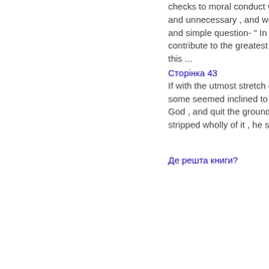checks to moral conduct were set aside as spurious and unnecessary , and we came at once to the grand and simple question- " In what manner we could best contribute to the greatest possible Shaftesbury made this ...
Сторінка 43
If with the utmost stretch of reason , man cannot ( as some seemed inclined to suppose ) soar up to the God , and quit the ground of human frailty , yet , stripped wholly of it , he sinks at once . into the ...
Уперед »
Де решта книги?